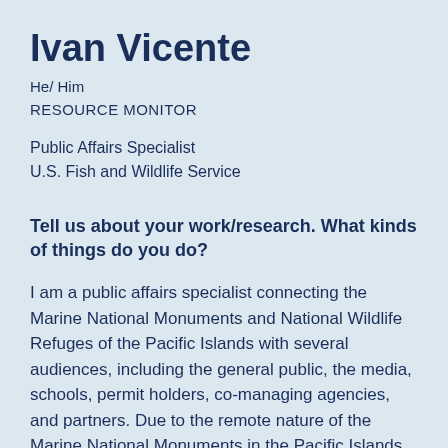Ivan Vicente
He/ Him
RESOURCE MONITOR
Public Affairs Specialist
U.S. Fish and Wildlife Service
Tell us about your work/research. What kinds of things do you do?
I am a public affairs specialist connecting the Marine National Monuments and National Wildlife Refuges of the Pacific Islands with several audiences, including the general public, the media, schools, permit holders, co-managing agencies, and partners. Due to the remote nature of the Marine National Monuments in the Pacific Islands the best way to connect people to these majestic units is via virtual experience, storytelling, story mapping, social media, and other online